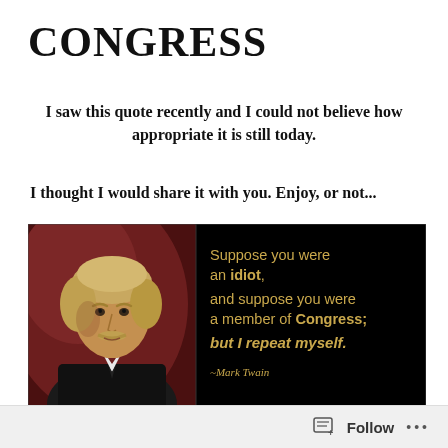CONGRESS
I saw this quote recently and I could not believe how appropriate it is still today.
I thought I would share it with you. Enjoy, or not...
[Figure (illustration): A quote image showing a portrait of Mark Twain on the left against a dark red background, and on the right against a black background the quote: 'Suppose you were an idiot, and suppose you were a member of Congress; but I repeat myself.' attributed to Mark Twain. The quote text is in gold/amber color.]
Follow  •••